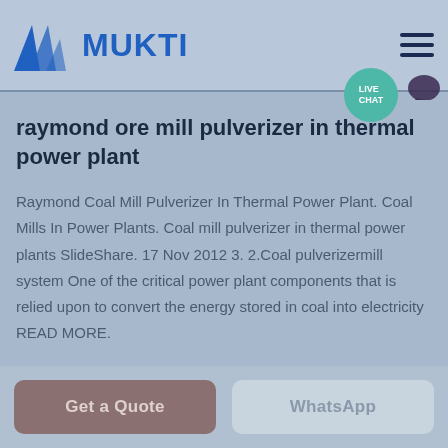MUKTI
raymond ore mill pulverizer in thermal power plant
Raymond Coal Mill Pulverizer In Thermal Power Plant. Coal Mills In Power Plants. Coal mill pulverizer in thermal power plants SlideShare. 17 Nov 2012 3. 2.Coal pulverizermill system One of the critical power plant components that is relied upon to convert the energy stored in coal into electricity READ MORE.
Get a Quote   WhatsApp